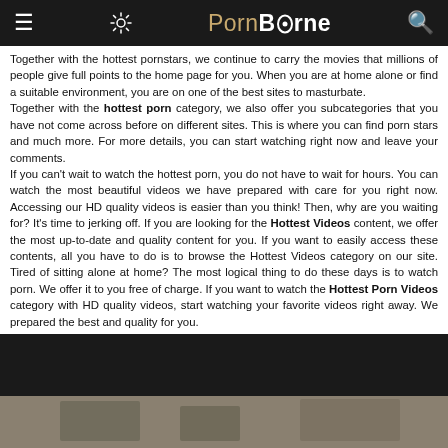PornBorne
Together with the hottest pornstars, we continue to carry the movies that millions of people give full points to the home page for you. When you are at home alone or find a suitable environment, you are on one of the best sites to masturbate.
Together with the hottest porn category, we also offer you subcategories that you have not come across before on different sites. This is where you can find porn stars and much more. For more details, you can start watching right now and leave your comments.
If you can't wait to watch the hottest porn, you do not have to wait for hours. You can watch the most beautiful videos we have prepared with care for you right now. Accessing our HD quality videos is easier than you think! Then, why are you waiting for? It's time to jerking off. If you are looking for the Hottest Videos content, we offer the most up-to-date and quality content for you. If you want to easily access these contents, all you have to do is to browse the Hottest Videos category on our site. Tired of sitting alone at home? The most logical thing to do these days is to watch porn. We offer it to you free of charge. If you want to watch the Hottest Porn Videos category with HD quality videos, start watching your favorite videos right away. We prepared the best and quality for you.
[Figure (photo): Bottom strip showing a partial outdoor photo]